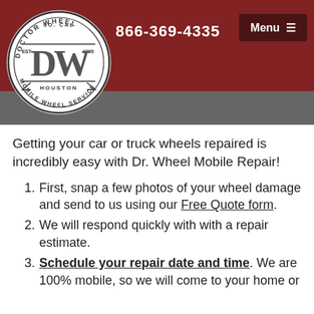[Figure (logo): Doctor Wheel logo: circular badge with 'DOCTOR WHEEL', 'SO. CAL', 'EST 1999', 'HOUSTON', 'MOBILE WHEEL SERVICE' text around a stylized DW monogram]
866-369-4335  Menu
Getting your car or truck wheels repaired is incredibly easy with Dr. Wheel Mobile Repair!
First, snap a few photos of your wheel damage and send to us using our Free Quote form.
We will respond quickly with with a repair estimate.
Schedule your repair date and time. We are 100% mobile, so we will come to your home or